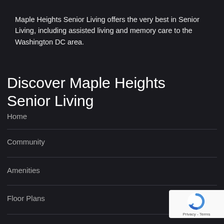Maple Heights Senior Living offers the very best in Senior Living, including assisted living and memory care to the Washington DC area.
Discover Maple Heights Senior Living
Home
Community
Amenities
Floor Plans
[Figure (logo): reCAPTCHA badge with blue circular arrow logo and 'Privacy - Terms' text on white background]